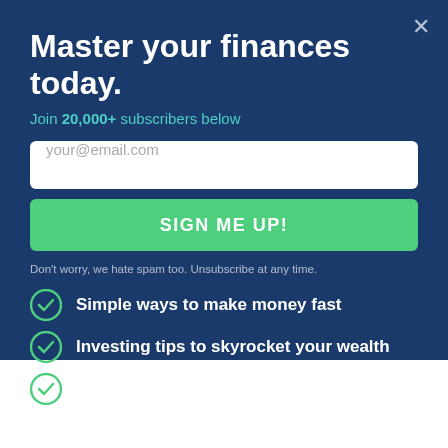Master your finances today.
Join 20,000+ subscribers below
your@email.com
SIGN ME UP!
Don't worry, we hate spam too. Unsubscribe at any time.
Simple ways to make money fast
Investing tips to skyrocket your wealth
Expert advice to save money fast
[Figure (illustration): Yellow background with Snapchat ghost logo at bottom]